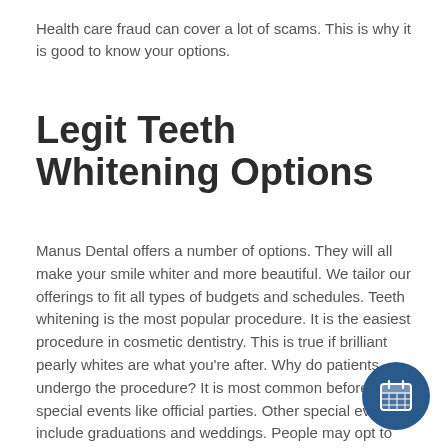Health care fraud can cover a lot of scams. This is why it is good to know your options.
Legit Teeth Whitening Options
Manus Dental offers a number of options. They will all make your smile whiter and more beautiful. We tailor our offerings to fit all types of budgets and schedules. Teeth whitening is the most popular procedure. It is the easiest procedure in cosmetic dentistry. This is true if brilliant pearly whites are what you're after. Why do patients undergo the procedure? It is most common before special events like official parties. Other special events include graduations and weddings. People may opt to have the procedure done for a job interview. Teeth wh... a nice and thoughtful present for a loved one or a frien...
[Figure (other): Round dark blue calendar icon button in the bottom right corner]